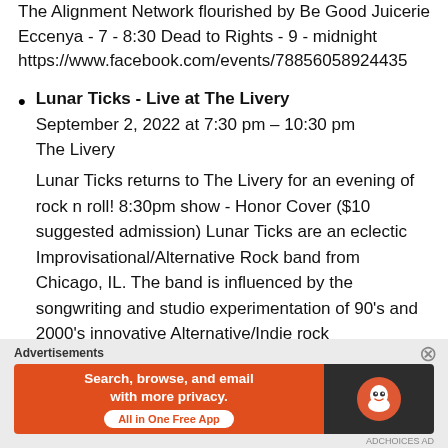The Alignment Network flourished by Be Good Juicerie
Eccenya - 7 - 8:30 Dead to Rights - 9 - midnight
https://www.facebook.com/events/78856058924435
Lunar Ticks - Live at The Livery
September 2, 2022 at 7:30 pm – 10:30 pm
The Livery
Lunar Ticks returns to The Livery for an evening of rock n roll! 8:30pm show - Honor Cover ($10 suggested admission) Lunar Ticks are an eclectic Improvisational/Alternative Rock band from Chicago, IL. The band is influenced by the songwriting and studio experimentation of 90's and 2000's innovative Alternative/Indie rock
[Figure (infographic): DuckDuckGo advertisement banner: orange background with text 'Search, browse, and email with more privacy. All in One Free App' and DuckDuckGo duck logo on dark background]